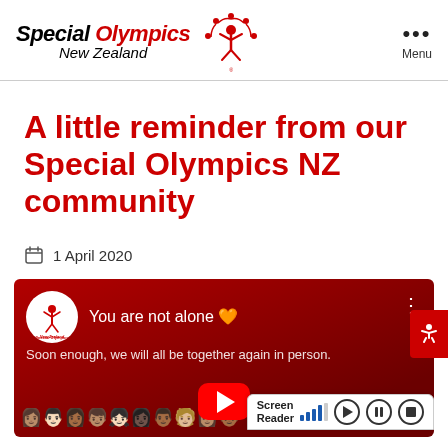Special Olympics New Zealand — Menu
A little reminder from our Special Olympics NZ community
1 April 2020
[Figure (screenshot): YouTube video thumbnail from Special Olympics New Zealand channel. Title: 'You are not alone 🧡'. Subtitle: 'Soon enough, we will all be together again in person.' Background is dark red with emoji faces across the bottom and a YouTube play button in the center. A screen reader toolbar is visible at the bottom right.]